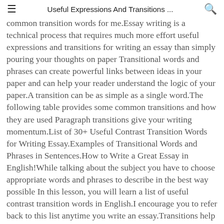≡   Useful Expressions And Transitions ...   🔍
common transition words for me.Essay writing is a technical process that requires much more effort useful expressions and transitions for writing an essay than simply pouring your thoughts on paper Transitional words and phrases can create powerful links between ideas in your paper and can help your reader understand the logic of your paper.A transition can be as simple as a single word.The following table provides some common transitions and how they are used Paragraph transitions give your writing momentum.List of 30+ Useful Contrast Transition Words for Writing Essay.Examples of Transitional Words and Phrases in Sentences.How to Write a Great Essay in English!While talking about the subject you have to choose appropriate words and phrases to describe in the best way possible In this lesson, you will learn a list of useful contrast transition words in English.I encourage you to refer back to this list anytime you write an essay.Transitions help your paper flow; they create connections between and within your paragraphs so that your paper does not seem